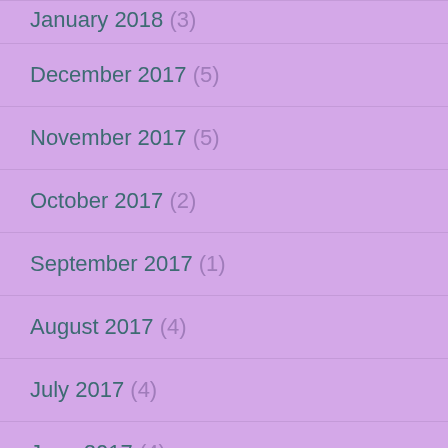January 2018 (3)
December 2017 (5)
November 2017 (5)
October 2017 (2)
September 2017 (1)
August 2017 (4)
July 2017 (4)
June 2017 (4)
May 2017 (5)